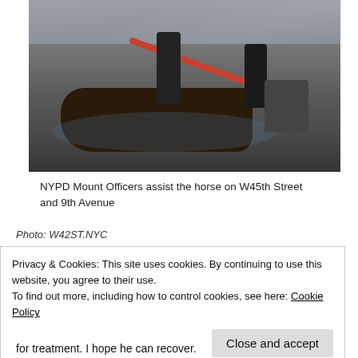[Figure (photo): NYPD Mounted Officers attending to a fallen horse lying on the street pavement at W45th Street and 9th Avenue. Officers in dark uniforms, one holding a red hose spraying water on the horse. Bystanders visible in the background near an ornate building.]
NYPD Mount Officers assist the horse on W45th Street and 9th Avenue
Photo: W42ST.NYC
Privacy & Cookies: This site uses cookies. By continuing to use this website, you agree to their use.
To find out more, including how to control cookies, see here: Cookie Policy
Close and accept
for treatment. I hope he can recover.